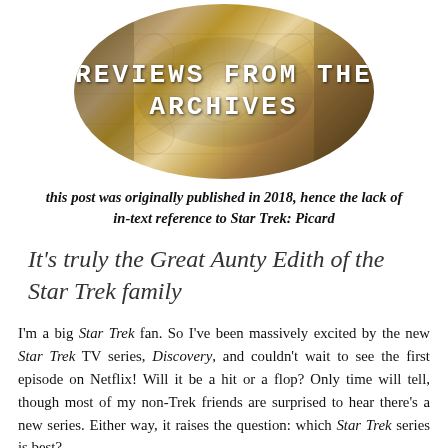[Figure (logo): Oval/ellipse shaped logo with a background photo of film reels/archive shelves, with white bold monospace text reading REVIEWS FROM THE ARCHIVES]
this post was originally published in 2018, hence the lack of in-text reference to Star Trek: Picard
It's truly the Great Aunty Edith of the Star Trek family
I'm a big Star Trek fan. So I've been massively excited by the new Star Trek TV series, Discovery, and couldn't wait to see the first episode on Netflix! Will it be a hit or a flop? Only time will tell, though most of my non-Trek friends are surprised to hear there's a new series. Either way, it raises the question: which Star Trek series is best?